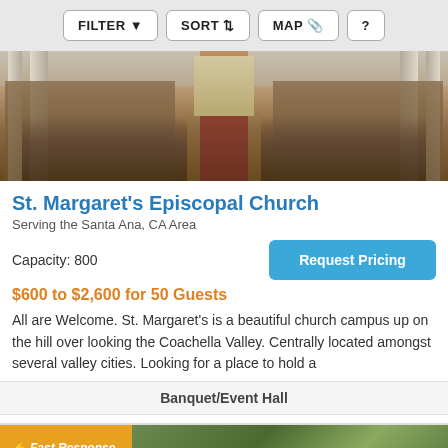FILTER  SORT  MAP  ?
[Figure (photo): Interior of St. Margaret's Episcopal Church showing a wedding ceremony in progress. Rows of wooden pews filled with guests, a center aisle with red carpet, tall white columns, and a bright altar area at the front.]
St. Margaret's Episcopal Church
Serving the Santa Ana, CA Area
Capacity: 800
Request Pricing
$600 to $2,600 for 50 Guests
All are Welcome. St. Margaret's is a beautiful church campus up on the hill over looking the Coachella Valley. Centrally located amongst several valley cities. Looking for a place to hold a
Banquet/Event Hall
Fast Response